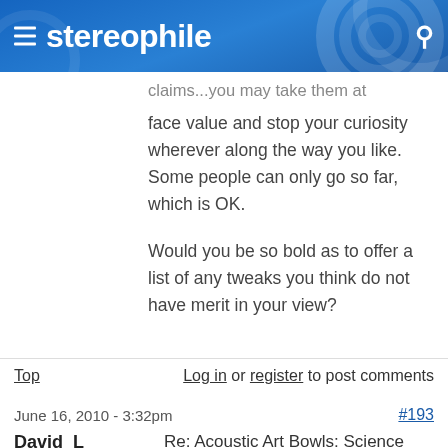stereophile
claims...you may take them at face value and stop your curiosity wherever along the way you like. Some people can only go so far, which is OK.

Would you be so bold as to offer a list of any tweaks you think do not have merit in your view?
Top   Log in or register to post comments
June 16, 2010 - 3:32pm   #193
David_L   Re: Acoustic Art Bowls: Science